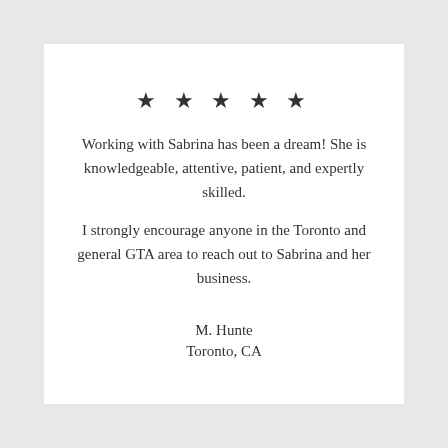[Figure (other): Five black star rating icons]
Working with Sabrina has been a dream! She is knowledgeable, attentive, patient, and expertly skilled.
I strongly encourage anyone in the Toronto and general GTA area to reach out to Sabrina and her business.
M. Hunte
Toronto, CA